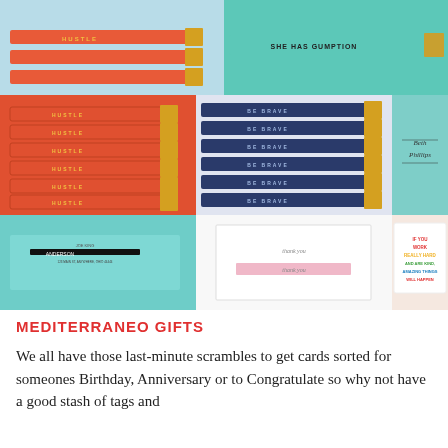[Figure (photo): Collage of stationery and gift items: pencils with motivational text (HUSTLE, BE BRAVE), teal envelopes with custom calligraphy addressing, pink thank-you note cards, and a colorful motivational card reading 'IF YOU WORK REALLY HARD AND ARE KIND, AMAZING THINGS WILL HAPPEN']
MEDITERRANEO GIFTS
We all have those last-minute scrambles to get cards sorted for someones Birthday, Anniversary or to Congratulate so why not have a good stash of tags and